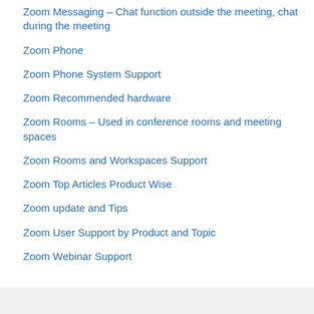Zoom Messaging – Chat function outside the meeting, chat during the meeting
Zoom Phone
Zoom Phone System Support
Zoom Recommended hardware
Zoom Rooms – Used in conference rooms and meeting spaces
Zoom Rooms and Workspaces Support
Zoom Top Articles Product Wise
Zoom update and Tips
Zoom User Support by Product and Topic
Zoom Webinar Support